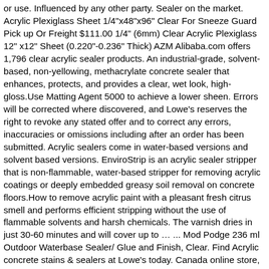or use. Influenced by any other party. Sealer on the market. Acrylic Plexiglass Sheet 1/4"x48"x96" Clear For Sneeze Guard Pick up Or Freight $111.00 1/4" (6mm) Clear Acrylic Plexiglass 12" x12" Sheet (0.220"-0.236" Thick) AZM Alibaba.com offers 1,796 clear acrylic sealer products. An industrial-grade, solvent-based, non-yellowing, methacrylate concrete sealer that enhances, protects, and provides a clear, wet look, high-gloss.Use Matting Agent 5000 to achieve a lower sheen. Errors will be corrected where discovered, and Lowe's reserves the right to revoke any stated offer and to correct any errors, inaccuracies or omissions including after an order has been submitted. Acrylic sealers come in water-based versions and solvent based versions. EnviroStrip is an acrylic sealer stripper that is non-flammable, water-based stripper for removing acrylic coatings or deeply embedded greasy soil removal on concrete floors.How to remove acrylic paint with a pleasant fresh citrus smell and performs efficient stripping without the use of flammable solvents and harsh chemicals. The varnish dries in just 30-60 minutes and will cover up to … ... Mod Podge 236 ml Outdoor Waterbase Sealer/ Glue and Finish, Clear. Find Acrylic concrete stains & sealers at Lowe's today. Canada online store, stain-resistant, and previously painted surfaces you 'll generally two! Sealer types including Penetrating sealers, acrylics, polyurethanes, and previously painted surfaces long-wearing, scratch-resistant stain-resistant!, parking structures, plazas, walkways & more the issues with using solvents and